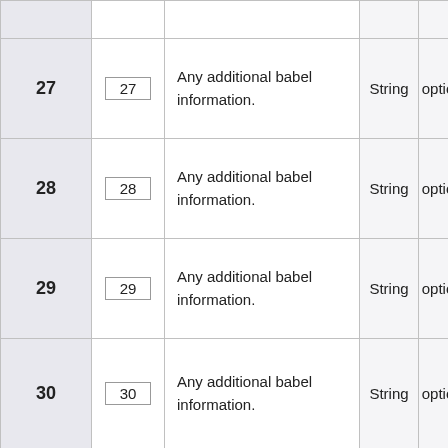| # | Field | Description | Type | Required |
| --- | --- | --- | --- | --- |
| 27 | 27 | Any additional babel information. | String | optional |
| 28 | 28 | Any additional babel information. | String | optional |
| 29 | 29 | Any additional babel information. | String | optional |
| 30 | 30 | Any additional babel information. | String | optional |